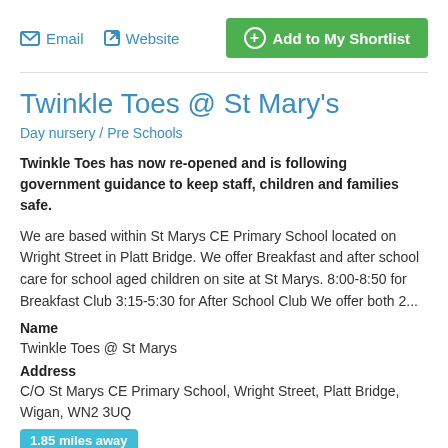Email   Website   Add to My Shortlist
Twinkle Toes @ St Mary's
Day nursery / Pre Schools
Twinkle Toes has now re-opened and is following government guidance to keep staff, children and families safe.
We are based within St Marys CE Primary School located on Wright Street in Platt Bridge. We offer Breakfast and after school care for school aged children on site at St Marys. 8:00-8:50 for Breakfast Club 3:15-5:30 for After School Club We offer both 2...
Name
Twinkle Toes @ St Marys
Address
C/O St Marys CE Primary School, Wright Street, Platt Bridge, Wigan, WN2 3UQ
1.85 miles away
Telephone